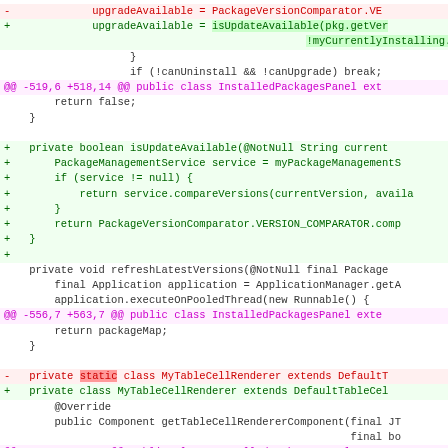[Figure (screenshot): Code diff screenshot showing changes to InstalledPackagesPanel Java class, including removal and addition of upgradeAvailable assignment, new isUpdateAvailable method, refreshLatestVersions method, and MyTableCellRenderer class modification.]